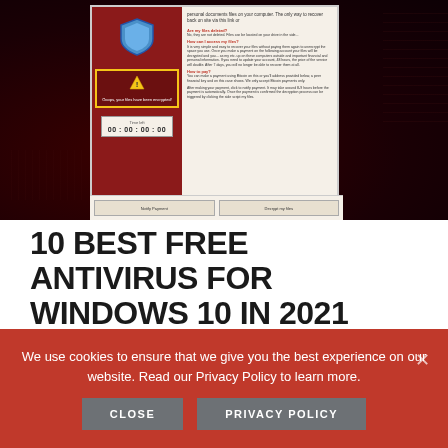[Figure (screenshot): Screenshot of a ransomware WannaCry-style dialog box on a dark red background with keyboard visible. The dialog has a dark red left panel with a shield icon, warning box, and timer showing 00:00:00:00. The right panel shows ransomware instructions with sections about files being deleted, how to access files, and how to pay. Two buttons at bottom: 'Notify Payment' and 'Decrypt my files'.]
10 BEST FREE ANTIVIRUS FOR WINDOWS 10 IN 2021
February 17, 2021
We use cookies to ensure that we give you the best experience on our website. Read our Privacy Policy to learn more.
CLOSE   PRIVACY POLICY